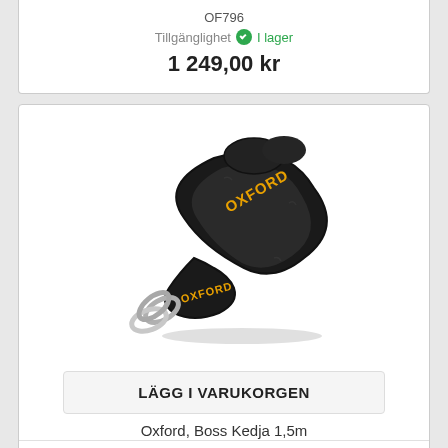OF796
Tillgänglighet  I lager
1 249,00 kr
[Figure (photo): Oxford Boss chain lock with black textile sleeve and yellow Oxford branding text, with metal chain links visible at one end.]
LÄGG I VARUKORGEN
Oxford, Boss Kedja 1,5m
OF1152